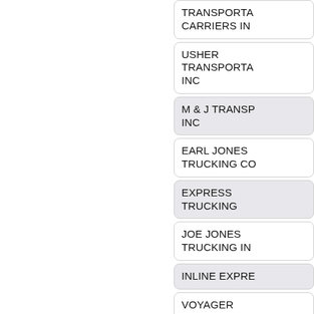TRANSPORTA CARRIERS IN
USHER TRANSPORTA INC
M & J TRANSP INC
EARL JONES TRUCKING CO
EXPRESS TRUCKING
JOE JONES TRUCKING IN
INLINE EXPRE
VOYAGER EXPRESS ON INC
DELISS TRANSPORT SYSTEMS LLC
NATIONAL